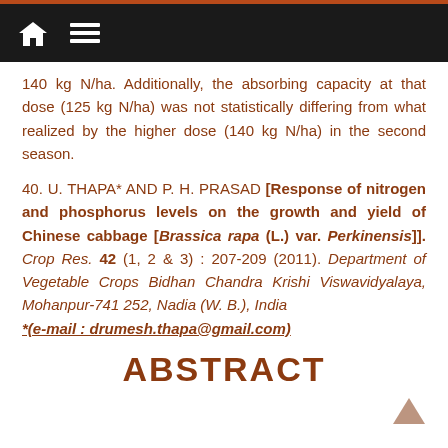[home icon] [menu icon]
140 kg N/ha. Additionally, the absorbing capacity at that dose (125 kg N/ha) was not statistically differing from what realized by the higher dose (140 kg N/ha) in the second season.
40. U. THAPA* AND P. H. PRASAD [Response of nitrogen and phosphorus levels on the growth and yield of Chinese cabbage [Brassica rapa (L.) var. Perkinensis]]. Crop Res. 42 (1, 2 & 3) : 207-209 (2011). Department of Vegetable Crops Bidhan Chandra Krishi Viswavidyalaya, Mohanpur-741 252, Nadia (W. B.), India *(e-mail : drumesh.thapa@gmail.com)
ABSTRACT